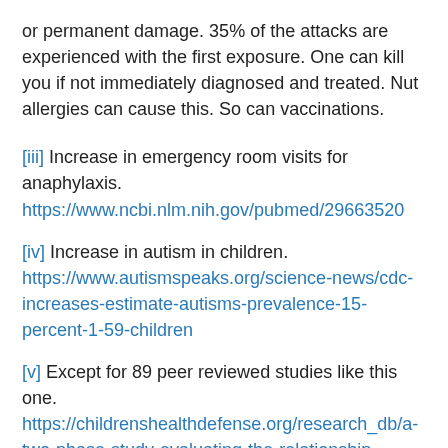or permanent damage. 35% of the attacks are experienced with the first exposure. One can kill you if not immediately diagnosed and treated. Nut allergies can cause this. So can vaccinations.
[iii] Increase in emergency room visits for anaphylaxis. https://www.ncbi.nlm.nih.gov/pubmed/29663520
[iv] Increase in autism in children. https://www.autismspeaks.org/science-news/cdc-increases-estimate-autisms-prevalence-15-percent-1-59-children
[v] Except for 89 peer reviewed studies like this one. https://childrenshealthdefense.org/research_db/a-two-phase-study-evaluating-the-relationship-between-thimerosal-containing-vaccine-administration-and-the-risk-